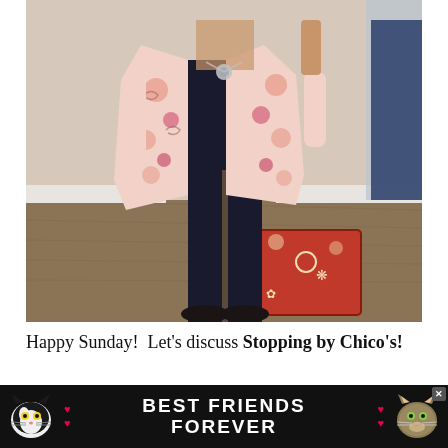[Figure (photo): A person standing in what appears to be a clothing store dressing room or fitting area. They are wearing a floral printed open jacket/blouse in pink, coral, and white tones over a black top and black straight-leg pants, with black flat shoes. A red patterned ottoman/stool is visible behind them. A rack of clothing hangs on the right. The person is taking a mirror selfie.]
Happy Sunday!  Let's discuss Stopping by Chico's!
[Figure (screenshot): Advertisement banner with black background showing two cat faces on either side and bold white text reading BEST FRIENDS FOREVER with hearts. An X close button is visible.]